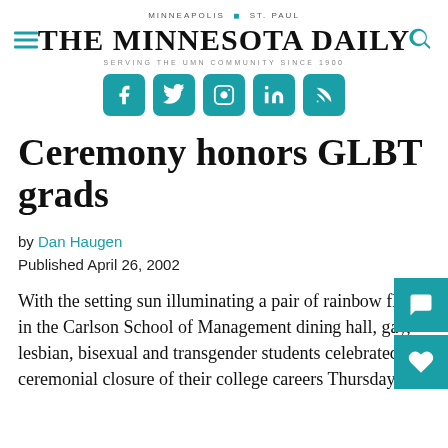MINNEAPOLIS · ST. PAUL — THE MINNESOTA DAILY — SERVING THE UMN COMMUNITY SINCE 1900
[Figure (logo): Social media icons: Facebook, Twitter, Instagram, LinkedIn, RSS feed — teal rounded squares]
Ceremony honors GLBT grads
by Dan Haugen
Published April 26, 2002
With the setting sun illuminating a pair of rainbow flags in the Carlson School of Management dining hall, gay, lesbian, bisexual and transgender students celebrated the ceremonial closure of their college careers Thursday.